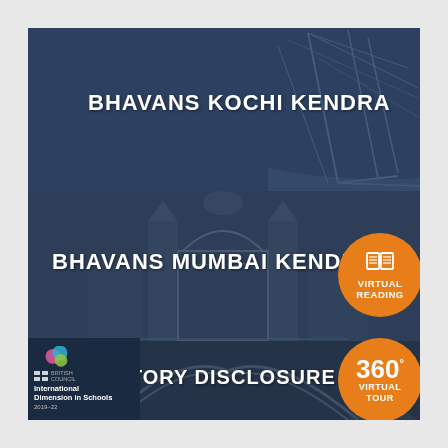BHAVANS KOCHI KENDRA
BHAVANS MUMBAI KENDRA
MANDATORY DISCLOSURE
[Figure (infographic): Orange circle badge with book icon and text VIRTUAL READING]
[Figure (infographic): Orange circle badge with 360 degrees text and VIRTUAL TOUR]
[Figure (logo): International Dimension in Schools 2019-22 logo with colored circles]